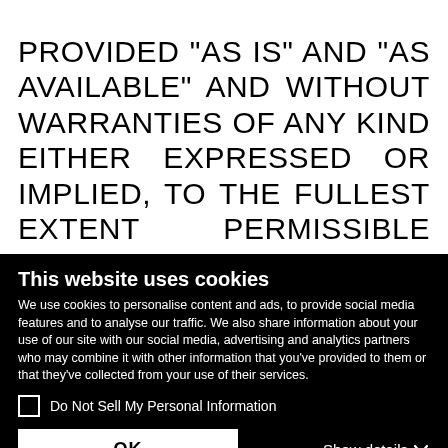PROVIDED "AS IS" AND "AS AVAILABLE" AND WITHOUT WARRANTIES OF ANY KIND EITHER EXPRESSED OR IMPLIED, TO THE FULLEST EXTENT PERMISSIBLE PURSUANT TO APPLICABLE LAW. KANTAR DISCLAIMS ALL WARRANTIES OF MERCHANTABILITY, NONINFRINGEMENT AND FITNESS FOR A PARTICULAR PURPOSE. KANTAR DOES NOT WARRANT THAT THE FUNCTIONS CONTAINED IN THE CONTENTS WILL BE UNINTERRUPTED OR ERROR-FREE, THAT DEFECTS WILL BE CORRECTED, OR THAT THE KANTAR SITE, OR THE SERVERS THAT MAKE THEM AVAILABLE, ARE FREE
This website uses cookies
We use cookies to personalise content and ads, to provide social media features and to analyse our traffic. We also share information about your use of our site with our social media, advertising and analytics partners who may combine it with other information that you've provided to them or that they've collected from your use of their services.
Do Not Sell My Personal Information
OK
Show details